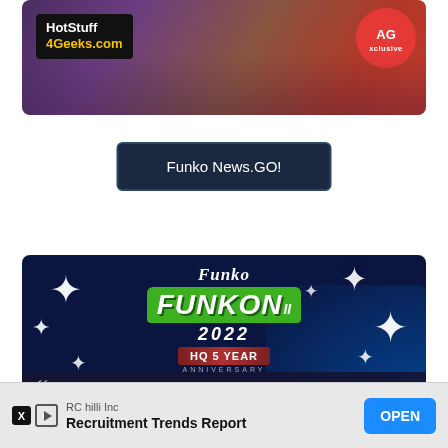[Figure (illustration): HotStuff4Geeks.com banner with anime-style character, purple/red background, and Xclusive badge in red circle]
[Figure (other): Dark navy button with text 'Funko News.GO!']
[Figure (illustration): FunKon II 2022 HQ 5 Year Anniversary event banner on dark blue background with sparkle stars and Funko logo]
[Figure (other): Advertisement bar: RC hilli Inc, Recruitment Trends Report, with OPEN button]